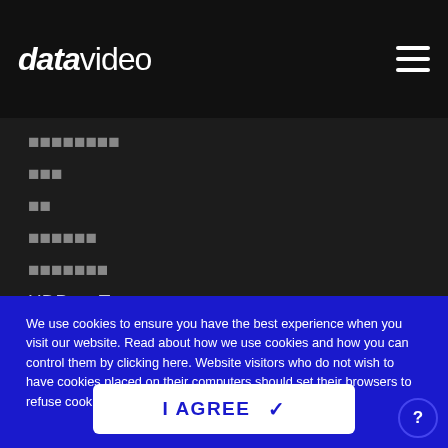[Figure (logo): datavideo logo in white on black background]
????????
???
??
??????
???????
HDBaseT
???????
We use cookies to ensure you have the best experience when you visit our website. Read about how we use cookies and how you can control them by clicking here. Website visitors who do not wish to have cookies placed on their computers should set their browsers to refuse cookies before visiting the website.
I AGREE ✓